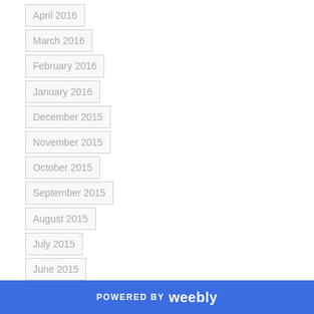April 2016
March 2016
February 2016
January 2016
December 2015
November 2015
October 2015
September 2015
August 2015
July 2015
June 2015
May 2015
April 2015
POWERED BY weebly